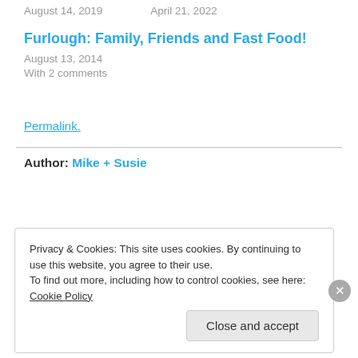August 14, 2019    April 21, 2022
Furlough: Family, Friends and Fast Food!
August 13, 2014
With 2 comments
Permalink.
Author: Mike + Susie
Privacy & Cookies: This site uses cookies. By continuing to use this website, you agree to their use.
To find out more, including how to control cookies, see here: Cookie Policy
Close and accept